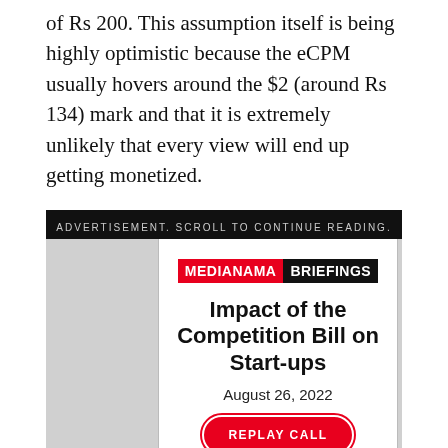of Rs 200. This assumption itself is being highly optimistic because the eCPM usually hovers around the $2 (around Rs 134) mark and that it is extremely unlikely that every view will end up getting monetized.
ADVERTISEMENT. SCROLL TO CONTINUE READING.
[Figure (other): MediaNama Briefings advertisement card featuring the title 'Impact of the Competition Bill on Start-ups', date August 26, 2022, and a REPLAY CALL button.]